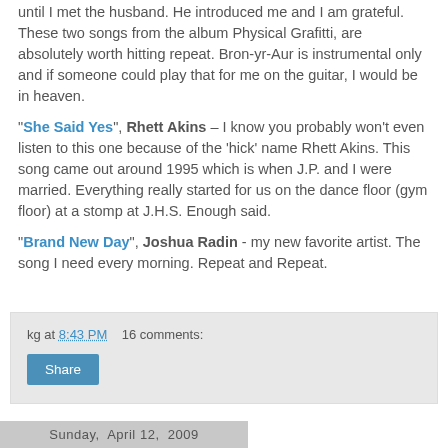until I met the husband. He introduced me and I am grateful. These two songs from the album Physical Grafitti, are absolutely worth hitting repeat. Bron-yr-Aur is instrumental only and if someone could play that for me on the guitar, I would be in heaven.
"She Said Yes", Rhett Akins – I know you probably won't even listen to this one because of the 'hick' name Rhett Akins. This song came out around 1995 which is when J.P. and I were married. Everything really started for us on the dance floor (gym floor) at a stomp at J.H.S. Enough said.
"Brand New Day", Joshua Radin - my new favorite artist. The song I need every morning. Repeat and Repeat.
kg at 8:43 PM    16 comments:
Sunday, April 12, 2009